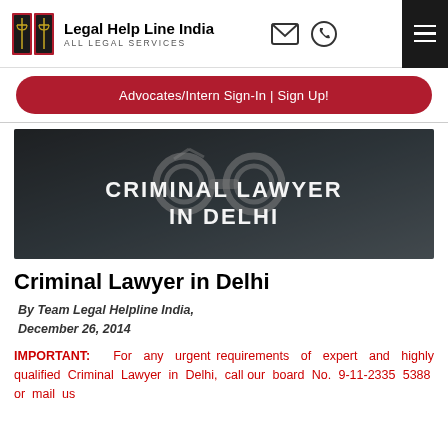Legal Help Line India | ALL LEGAL SERVICES
Advocates/Intern Sign-In | Sign Up!
[Figure (photo): Dark-toned hero image of handcuffs and money with white bold text overlay reading CRIMINAL LAWYER IN DELHI]
Criminal Lawyer in Delhi
By Team Legal Helpline India, December 26, 2014
IMPORTANT: For any urgent requirements of expert and highly qualified Criminal Lawyer in Delhi, call our board No. 9-11-2335 5388 or mail us